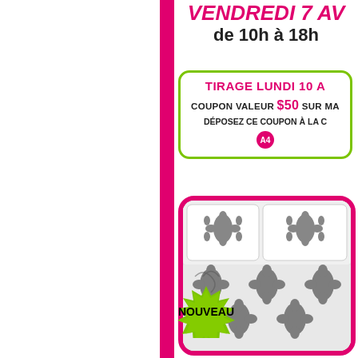VENDREDI 7 AV...
de 10h à 18h
TIRAGE LUNDI 10 A...
COUPON VALEUR $50 SUR MA...
DÉPOSEZ CE COUPON À LA C...
A4
[Figure (photo): Bedding set with black and white damask floral pattern, with NOUVEAU starburst badge in green]